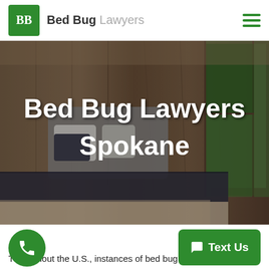BB Bed Bug Lawyers
[Figure (photo): Hero image of a hotel bedroom with wooden walls and balcony door, overlaid with large white text reading 'Bed Bug Lawyers Spokane']
Bed Bug Lawyers Spokane
Throughout the U.S., instances of bed bug infestations and